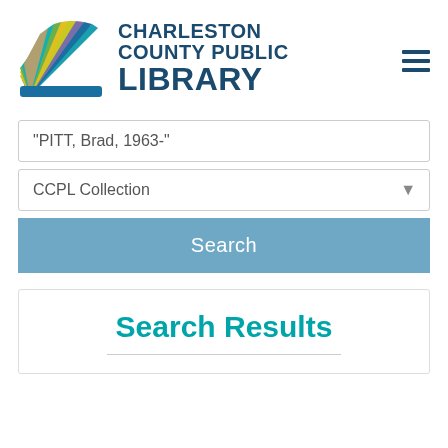[Figure (logo): Charleston County Public Library logo with colorful fan/book pages graphic and bold navy text reading CHARLESTON COUNTY PUBLIC LIBRARY]
"PITT, Brad, 1963-"
CCPL Collection
Search
Search Results